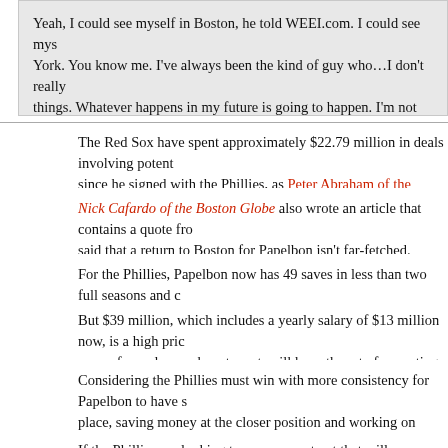Yeah, I could see myself in Boston, he told WEEI.com. I could see myself in New York. You know me. I've always been the kind of guy who…I don't really plan for things. Whatever happens in my future is going to happen. I'm not blind to those things.
The Red Sox have spent approximately $22.79 million in deals involving potential players since he signed with the Phillies, as Peter Abraham of the Boston Globe wrote.
Nick Cafardo of the Boston Globe also wrote an article that contains a quote from someone who said that a return to Boston for Papelbon isn't far-fetched.
For the Phillies, Papelbon now has 49 saves in less than two full seasons and counting.
But $39 million, which includes a yearly salary of $13 million now, is a high price to pay a year for a player who, at most, will have three to four outings per week, is a stretch.
Considering the Phillies must win with more consistency for Papelbon to have saves to accumulate place, saving money at the closer position and working on improving the team's lineup makes sense.
If the Phillies are looking to move a contract that will save them money in future years, this is one they look to deal.  The hard part would be finding a team willing to take on that money.
As Bradford's article noted, Papelbon can block trades to eight teams and the Red Sox are one of those teams.  This means that the Red Sox, or any team on his no-trade list could block the deal.